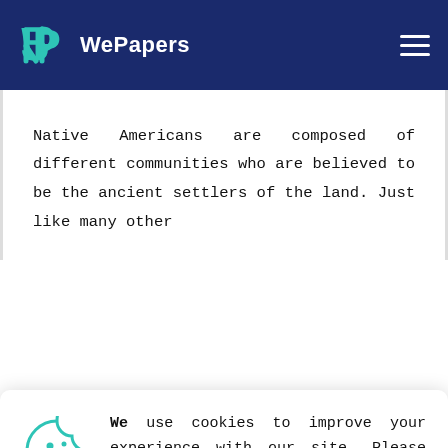WePapers
Native Americans are composed of different communities who are believed to be the ancient settlers of the land. Just like many other
We use cookies to improve your experience with our site. Please accept before continuing or read our cookie policy here.
more important compared to the present years. Religion was at the center and heart of every community. During those years, there were no scientific or technological developments that